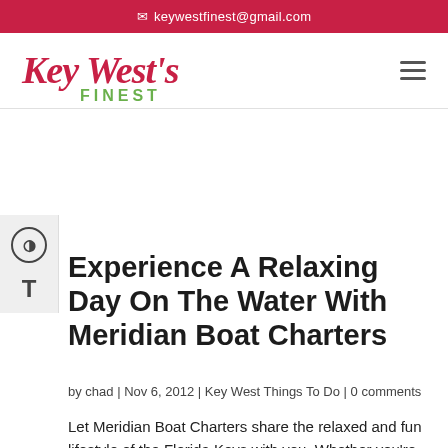✉ keywestfinest@gmail.com
[Figure (logo): Key West's Finest cursive logo with red script and green 'FINEST' text]
Experience A Relaxing Day On The Water With Meridian Boat Charters
by chad | Nov 6, 2012 | Key West Things To Do | 0 comments
Let Meridian Boat Charters share the relaxed and fun lifestyle of the Florida Keys with you. Whether you're interested in Key West Fishing Charters, Key West Snorkeling Tours, Key West Dolphin Watching